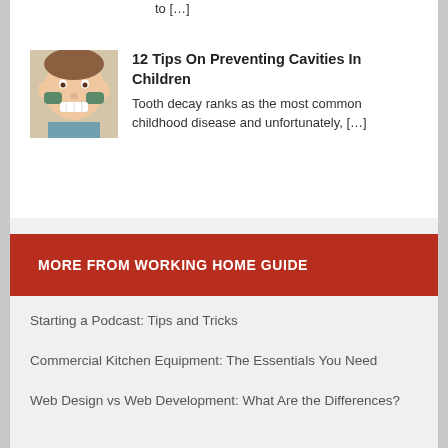to […]
[Figure (photo): Child making a funny face by squishing cheeks with hands, showing teeth]
12 Tips On Preventing Cavities In Children
Tooth decay ranks as the most common childhood disease and unfortunately, […]
MORE FROM WORKING HOME GUIDE
Starting a Podcast: Tips and Tricks
Commercial Kitchen Equipment: The Essentials You Need
Web Design vs Web Development: What Are the Differences?